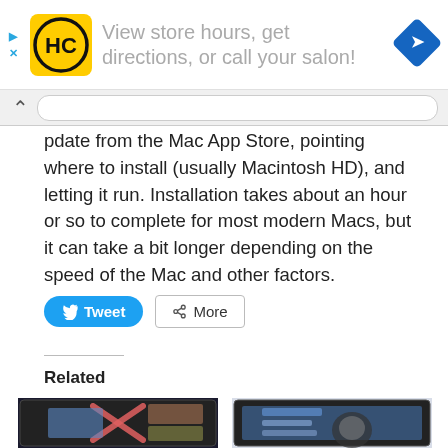[Figure (screenshot): Advertisement banner with HC logo (yellow square with black HC letters), text 'View store hours, get directions, or call your salon!' in gray, and a blue navigation/map icon on the right]
[Figure (screenshot): Browser address/navigation bar with chevron up arrow and URL input field]
pdate from the Mac App Store, pointing where to install (usually Macintosh HD), and letting it run. Installation takes about an hour or so to complete for most modern Macs, but it can take a bit longer depending on the speed of the Mac and other factors.
[Figure (screenshot): Tweet and More social sharing buttons]
Related
[Figure (screenshot): Two related article thumbnail images showing iPad/MacBook screens with OS X and app interfaces]